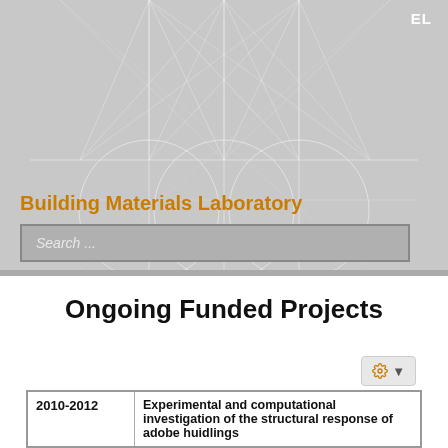[Figure (illustration): Gray banner background with geometric white line pattern showing overlapping circles, triangles and intersecting lines arranged in a symmetrical design]
EL
Building Materials Laboratory
Search ...
Ongoing Funded Projects
| 2010-2012 | Experimental and computational investigation of the structural response of adobe huidlings |